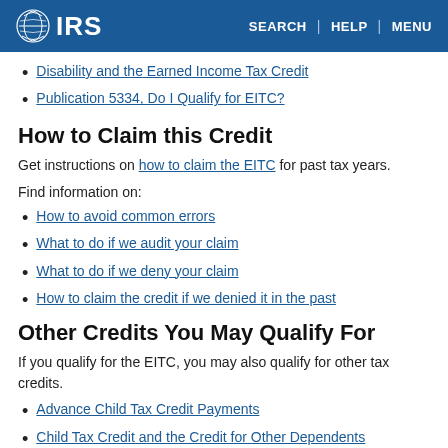IRS | SEARCH | HELP | MENU
Disability and the Earned Income Tax Credit
Publication 5334, Do I Qualify for EITC?
How to Claim this Credit
Get instructions on how to claim the EITC for past tax years.
Find information on:
How to avoid common errors
What to do if we audit your claim
What to do if we deny your claim
How to claim the credit if we denied it in the past
Other Credits You May Qualify For
If you qualify for the EITC, you may also qualify for other tax credits.
Advance Child Tax Credit Payments
Child Tax Credit and the Credit for Other Dependents
Child and Dependent Care Credit